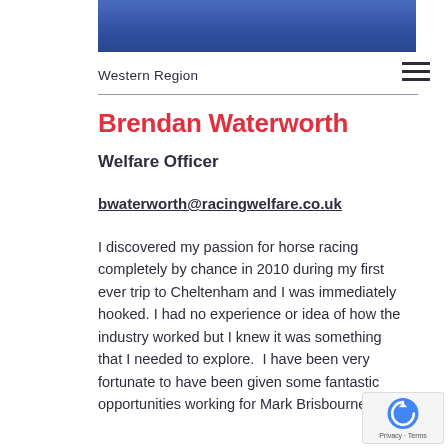[Figure (photo): Partial photo of person wearing blue clothing, cropped at top]
Western Region
Brendan Waterworth
Welfare Officer
bwaterworth@racingwelfare.co.uk
I discovered my passion for horse racing completely by chance in 2010 during my first ever trip to Cheltenham and I was immediately hooked. I had no experience or idea of how the industry worked but I knew it was something that I needed to explore.  I have been very fortunate to have been given some fantastic opportunities working for Mark Brisbourne